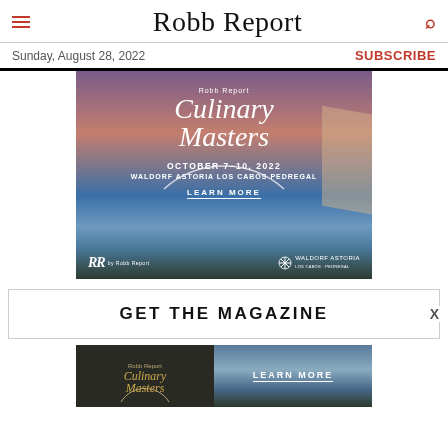Robb Report
Sunday, August 28, 2022
SUBSCRIBE
[Figure (photo): Robb Report Culinary Masters advertisement. October 7-10, 2022. Waldorf Astoria Los Cabos Pedregal. Learn More. Background shows an oceanfront terrace with lanterns at sunset/dusk. Logos: RR by Robb Report and Waldorf Astoria Los Cabos Pedregal.]
GET THE MAGAZINE
[Figure (photo): Bottom banner ad for Robb Report Culinary Masters with golden logo on dark background on left and Learn More button over ocean view on right.]